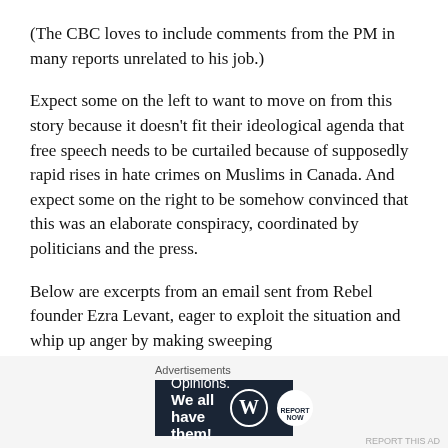(The CBC loves to include comments from the PM in many reports unrelated to his job.)
Expect some on the left to want to move on from this story because it doesn't fit their ideological agenda that free speech needs to be curtailed because of supposedly rapid rises in hate crimes on Muslims in Canada. And expect some on the right to be somehow convinced that this was an elaborate conspiracy, coordinated by politicians and the press.
Below are excerpts from an email sent from Rebel founder Ezra Levant, eager to exploit the situation and whip up anger by making sweeping
Advertisements
[Figure (other): Advertisement banner with dark navy background. Left side shows text: 'Opinions. We all have them!' Right side shows WordPress logo (white W in circle) and a second circular logo. A close/dismiss button (X in circle) appears at top right of the ad area.]